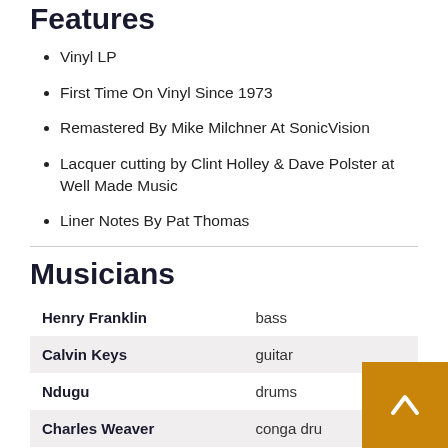Features
Vinyl LP
First Time On Vinyl Since 1973
Remastered By Mike Milchner At SonicVision
Lacquer cutting by Clint Holley & Dave Polster at Well Made Music
Liner Notes By Pat Thomas
Musicians
| Name | Instrument |
| --- | --- |
| Henry Franklin | bass |
| Calvin Keys | guitar |
| Ndugu | drums |
| Charles Weaver | conga drums |
| Eddie Gee | tambourine |